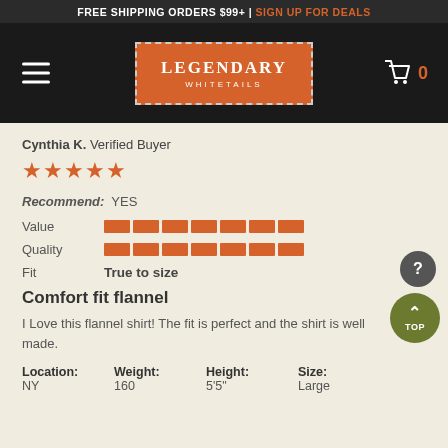FREE SHIPPING ORDERS $99+ | SIGN UP FOR DEALS
[Figure (logo): Legendary Whitetails logo in orange box with dashed border, hamburger menu icon on left, cart icon with 0 on right]
Cynthia K. Verified Buyer
[Figure (other): 5 orange star rating icons]
Recommend: YES
Value [bar rating]
Quality [bar rating]
Fit True to size
Comfort fit flannel
I Love this flannel shirt! The fit is perfect and the shirt is well made.
Location: NY   Weight: 160   Height: 5'5"   Size: Large